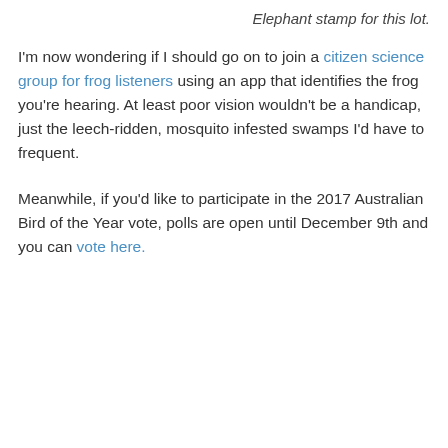Elephant stamp for this lot.
I'm now wondering if I should go on to join a citizen science group for frog listeners using an app that identifies the frog you're hearing. At least poor vision wouldn't be a handicap, just the leech-ridden, mosquito infested swamps I'd have to frequent.
Meanwhile, if you'd like to participate in the 2017 Australian Bird of the Year vote, polls are open until December 9th and you can vote here.